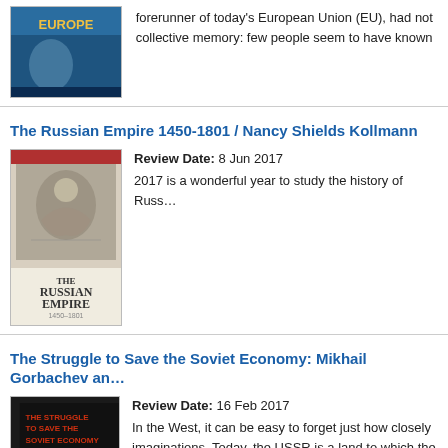forerunner of today's European Union (EU), had not collective memory: few people seem to have known
The Russian Empire 1450-1801 / Nancy Shields Kollmann
[Figure (photo): Book cover of The Russian Empire 1450-1801]
Review Date: 8 Jun 2017
2017 is a wonderful year to study the history of Russ...
The Struggle to Save the Soviet Economy: Mikhail Gorbachev an...
[Figure (photo): Book cover of The Struggle to Save the Soviet Economy]
Review Date: 16 Feb 2017
In the West, it can be easy to forget just how closely imaginations. Today, the USSR is a land to which the nightmares – whereas China is on everyone's mind, past to move to the forefront of the new capitalist c...